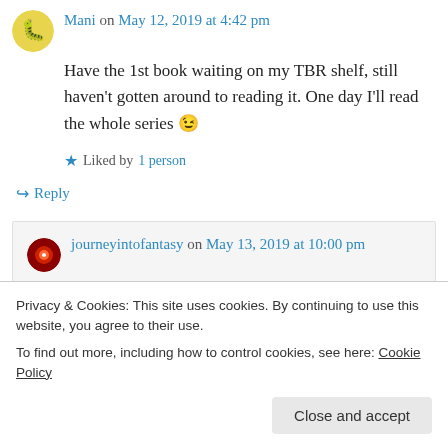Mani on May 12, 2019 at 4:42 pm
Have the 1st book waiting on my TBR shelf, still haven't gotten around to reading it. One day I'll read the whole series 😉
★ Liked by 1 person
↪ Reply
journeyintofantasy on May 13, 2019 at 10:00 pm
Privacy & Cookies: This site uses cookies. By continuing to use this website, you agree to their use. To find out more, including how to control cookies, see here: Cookie Policy
Close and accept